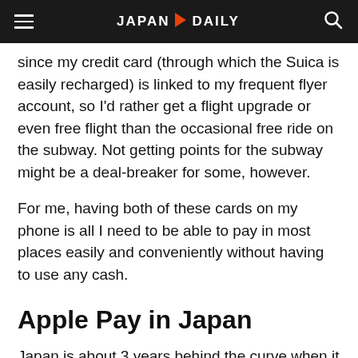JAPAN DAILY
since my credit card (through which the Suica is easily recharged) is linked to my frequent flyer account, so I'd rather get a flight upgrade or even free flight than the occasional free ride on the subway. Not getting points for the subway might be a deal-breaker for some, however.
For me, having both of these cards on my phone is all I need to be able to pay in most places easily and conveniently without having to use any cash.
Apple Pay in Japan
Japan is about 3 years behind the curve when it